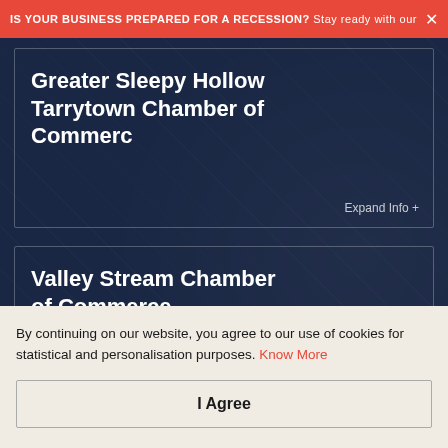IS YOUR BUSINESS PREPARED FOR A RECESSION? Stay ready with our small busin...
Greater Sleepy Hollow Tarrytown Chamber of Commerc
Expand Info +
Valley Stream Chamber of Commerce
Expand Info +
Victor Chamber of
By continuing on our website, you agree to our use of cookies for statistical and personalisation purposes. Know More
I Agree